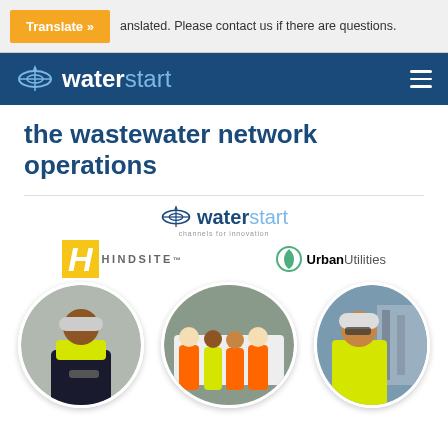Translate » ... anslated. Please contact us if there are questions.
waterstart [navigation logo and menu]
the wastewater network operations
[Figure (logo): waterstart channels for innovation logo, HINDSITE logo, UrbanUtilities logo, and three circular photos of workers in high-visibility gear at wastewater facilities]